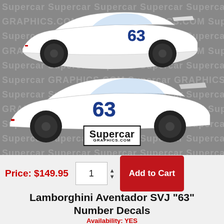[Figure (photo): Product image showing two side views of a white Lamborghini Aventador SVJ with number '63' decals on the door, displayed on a gray background with repeating 'Supercar Graphics.com' watermark and Supercar logo at bottom.]
Price: $149.95
Lamborghini Aventador SVJ "63" Number Decals
Availability: YES